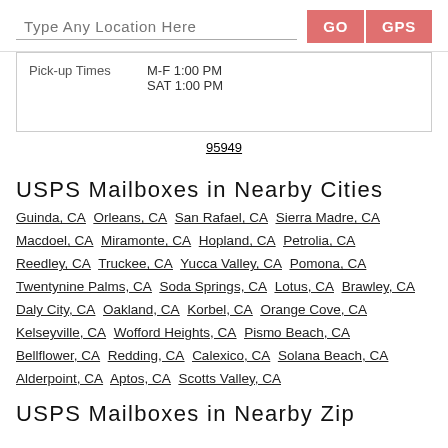Type Any Location Here  GO  GPS
| Pick-up Times | M-F 1:00 PM | SAT 1:00 PM |
| --- | --- | --- |
95949
USPS Mailboxes in Nearby Cities
Guinda, CA  Orleans, CA  San Rafael, CA  Sierra Madre, CA  Macdoel, CA  Miramonte, CA  Hopland, CA  Petrolia, CA  Reedley, CA  Truckee, CA  Yucca Valley, CA  Pomona, CA  Twentynine Palms, CA  Soda Springs, CA  Lotus, CA  Brawley, CA  Daly City, CA  Oakland, CA  Korbel, CA  Orange Cove, CA  Kelseyville, CA  Wofford Heights, CA  Pismo Beach, CA  Bellflower, CA  Redding, CA  Calexico, CA  Solana Beach, CA  Alderpoint, CA  Aptos, CA  Scotts Valley, CA
USPS Mailboxes in Nearby Zip